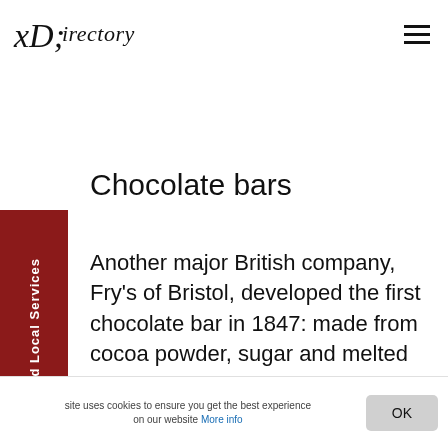Directory
Chocolate bars
Another major British company, Fry's of Bristol, developed the first chocolate bar in 1847: made from cocoa powder, sugar and melted cocoa butter extracted from the beans, the mixture was moulded into solid bars and blocks. Initially dark and bitter-tasting, nonetheless this innovation revolutionised the consumption of chocolate and
site uses cookies to ensure you get the best experience on our website More info  OK